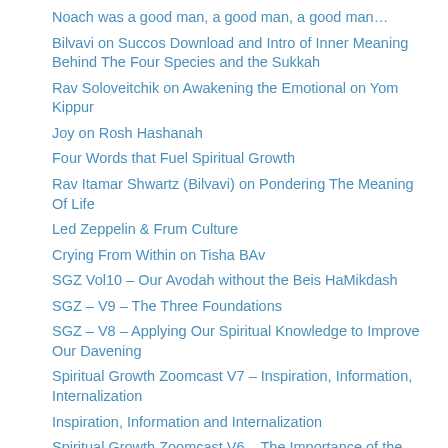Noach was a good man, a good man, a good man…
Bilvavi on Succos Download and Intro of Inner Meaning Behind The Four Species and the Sukkah
Rav Soloveitchik on Awakening the Emotional on Yom Kippur
Joy on Rosh Hashanah
Four Words that Fuel Spiritual Growth
Rav Itamar Shwartz (Bilvavi) on Pondering The Meaning Of Life
Led Zeppelin & Frum Culture
Crying From Within on Tisha BAv
SGZ Vol10 – Our Avodah without the Beis HaMikdash
SGZ – V9 – The Three Foundations
SGZ – V8 – Applying Our Spiritual Knowledge to Improve Our Davening
Spiritual Growth Zoomcast V7 – Inspiration, Information, Internalization
Inspiration, Information and Internalization
Spiritual Growth Zoomcast V6 – The Importance of the